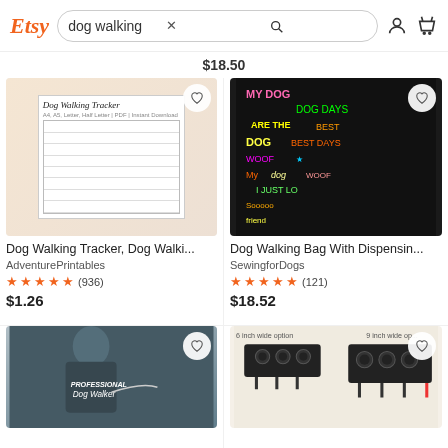Etsy — dog walking search
$18.50
[Figure (screenshot): Dog Walking Tracker printable planner pages in a ring binder]
Dog Walking Tracker, Dog Walki...
AdventurePrintables
★★★★★ (936)
$1.26
[Figure (photo): Colorful dog-themed tote bag with dispensing hole]
Dog Walking Bag With Dispensin...
SewingforDogs
★★★★★ (121)
$18.52
[Figure (photo): Woman wearing dark grey Professional Dog Walker t-shirt]
[Figure (photo): Black metal dog leash hook/key holder with paw print cutouts, two sizes shown]